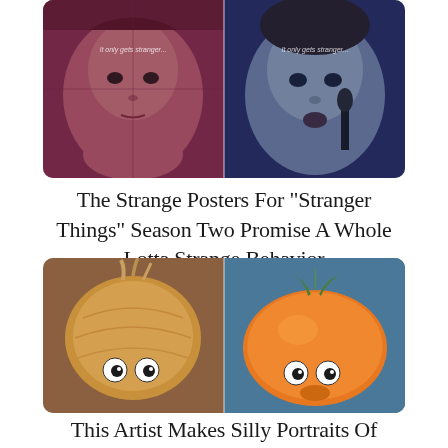[Figure (photo): Two side-by-side Stranger Things Season 2 promotional poster images showing close-up faces of two young actors with text 'It only gets stranger...' overlaid in white]
The Strange Posters For "Stranger Things" Season Two Promise A Whole Lotta Strange Behavior
[Figure (photo): Two side-by-side images of an onion and an orange, each with googly eyes glued onto them, giving them a silly face appearance]
This Artist Makes Silly Portraits Of